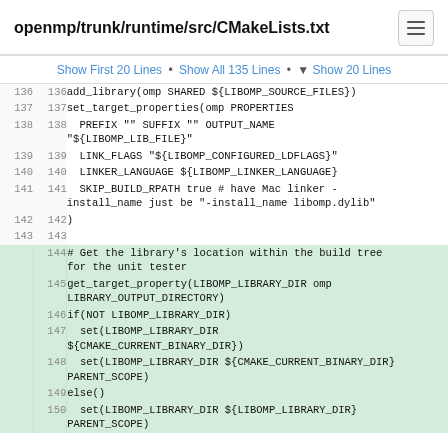openmp/trunk/runtime/src/CMakeLists.txt
Show First 20 Lines • Show All 135 Lines • ▼ Show 20 Lines
| line | line | code |
| --- | --- | --- |
| 136 | 136 | add_library(omp SHARED ${LIBOMP_SOURCE_FILES}) |
| 137 | 137 | set_target_properties(omp PROPERTIES |
| 138 | 138 |   PREFIX "" SUFFIX "" OUTPUT_NAME
"${LIBOMP_LIB_FILE}" |
| 139 | 139 |   LINK_FLAGS "${LIBOMP_CONFIGURED_LDFLAGS}" |
| 140 | 140 |   LINKER_LANGUAGE ${LIBOMP_LINKER_LANGUAGE} |
| 141 | 141 |   SKIP_BUILD_RPATH true # have Mac linker -
install_name just be "-install_name libomp.dylib" |
| 142 | 142 | ) |
| 143 | 143 |  |
| 144 |  | # Get the library's location within the build tree
for the unit tester |
| 145 |  | get_target_property(LIBOMP_LIBRARY_DIR omp
LIBRARY_OUTPUT_DIRECTORY) |
| 146 |  | if(NOT LIBOMP_LIBRARY_DIR) |
| 147 |  |   set(LIBOMP_LIBRARY_DIR
${CMAKE_CURRENT_BINARY_DIR}) |
| 148 |  |   set(LIBOMP_LIBRARY_DIR ${CMAKE_CURRENT_BINARY_DIR}
PARENT_SCOPE) |
| 149 |  | else() |
| 150 |  |   set(LIBOMP_LIBRARY_DIR ${LIBOMP_LIBRARY_DIR}
PARENT_SCOPE) |